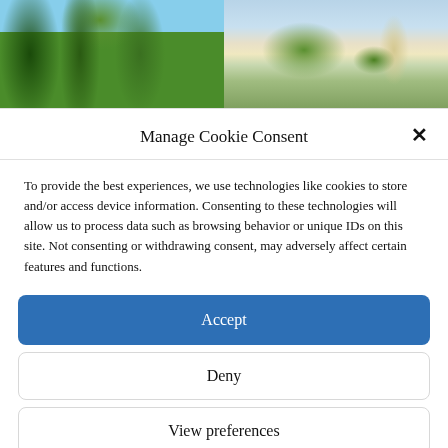[Figure (photo): Two photos side by side showing garden/villa scenes with green trees and a building with a tower against mountains and sky]
Manage Cookie Consent
To provide the best experiences, we use technologies like cookies to store and/or access device information. Consenting to these technologies will allow us to process data such as browsing behavior or unique IDs on this site. Not consenting or withdrawing consent, may adversely affect certain features and functions.
Accept
Deny
View preferences
Cookie Policy  Privacy